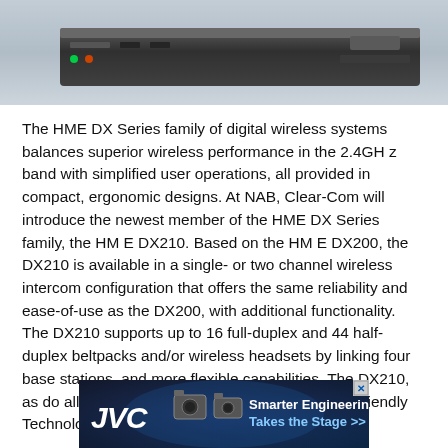[Figure (photo): Partial view of an HME DX Series rack-mount wireless intercom base station unit against a light grey/blue background]
The HME DX Series family of digital wireless systems balances superior wireless performance in the 2.4GHz band with simplified user operations, all provided in compact, ergonomic designs. At NAB, Clear-Com will introduce the newest member of the HME DX Series family, the HM E DX210. Based on the HM E DX200, the DX210 is available in a single- or two channel wireless intercom configuration that offers the same reliability and ease-of-use as the DX200, with additional functionality. The DX210 supports up to 16 full-duplex and 44 half-duplex beltpacks and/or wireless headsets by linking four base stations, and more flexible capabilities. The DX210, as do all DX Series systems, features Spectrum-Friendly Technology to
[Figure (photo): JVC advertisement banner: 'Smarter Engineering Takes the Stage >>' with JVC logo and camera images]